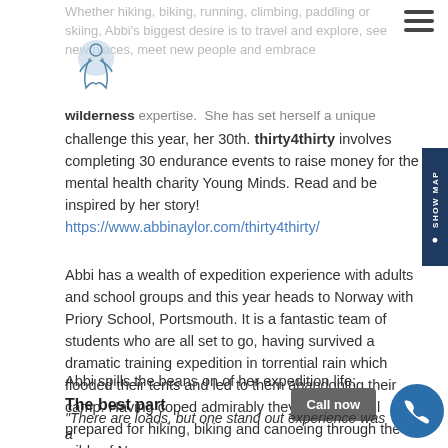Whether hiking, biking, running, climbing, paddling or skiing, Abbi's biggest desire is to travel and explore, see new places, meet new people and embrace wilderness expertise. She has set herself a unique challenge this year, her 30th. thirty4thirty involves completing 30 endurance events to raise money for the mental health charity Young Minds. Read and be inspired by her story! https://www.abbinaylor.com/thirty4thirty/
Abbi has a wealth of expedition experience with adults and school groups and this year heads to Norway with Priory School, Portsmouth. It is a fantastic team of students who are all set to go, having survived a dramatic training expedition in torrential rain which flooded their tents and led to them abandoning their camp. Having coped admirably they are now well prepared for hiking, biking and canoeing through the wilds of Norway.
Abbi spills the beans on of her expedition life:
The best part
“There are loads, but one stand out experience was a